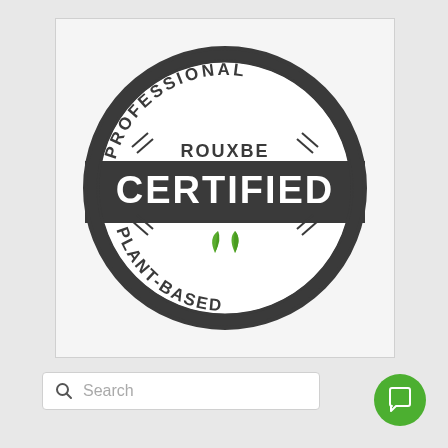[Figure (logo): Rouxbe Professional Plant-Based Certified circular badge/seal. Dark gray circle with white banner across middle containing 'CERTIFIED' in large bold white text. Top arc reads 'PROFESSIONAL' with decorative slashes, inner circle shows 'ROUXBE' text. Bottom arc reads 'PLANT-BASED' with two green leaves in center.]
Search
[Figure (other): Green circular chat/message button with white speech bubble icon]